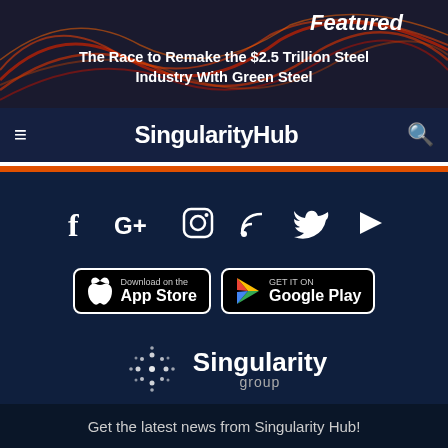[Figure (screenshot): Banner image with red/orange wave pattern and headline text: Featured - The Race to Remake the $2.5 Trillion Steel Industry With Green Steel]
SingularityHub
[Figure (infographic): Social media icons row: Facebook, Google+, Instagram, RSS, Twitter, YouTube]
[Figure (infographic): App store download buttons: Download on the App Store (Apple) and GET IT ON Google Play]
[Figure (logo): Singularity Group logo with dot pattern graphic and text 'Singularity group']
Get the latest news from Singularity Hub!